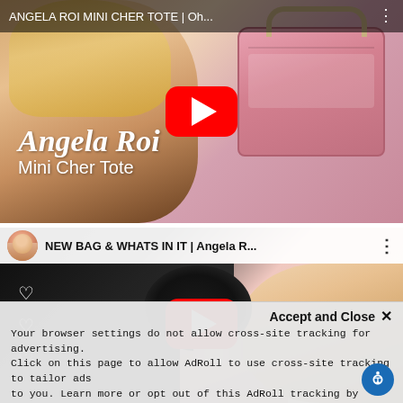[Figure (screenshot): YouTube video thumbnail for 'ANGELA ROI MINI CHER TOTE | Oh...' showing a woman with blonde hair holding a pink handbag, with YouTube play button overlay and Angela Roi / Mini Cher Tote text overlay]
[Figure (screenshot): YouTube video thumbnail for 'NEW BAG & WHATS IN IT | Angela R...' showing a woman with black scrunchie items and beauty products, with a channel avatar, title bar, and YouTube play button overlay]
Accept and Close ×
Your browser settings do not allow cross-site tracking for advertising. Click on this page to allow AdRoll to use cross-site tracking to tailor ads to you. Learn more or opt out of this AdRoll tracking by clicking here. This message only appears once.